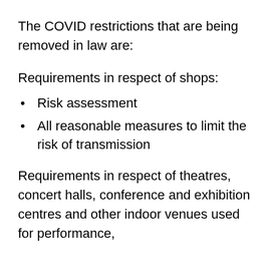The COVID restrictions that are being removed in law are:
Requirements in respect of shops:
Risk assessment
All reasonable measures to limit the risk of transmission
Requirements in respect of theatres, concert halls, conference and exhibition centres and other indoor venues used for performance,